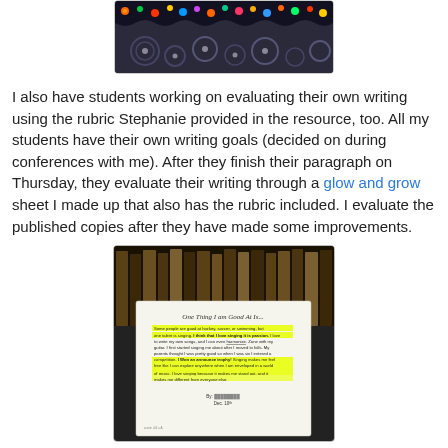[Figure (photo): Photo of a classroom bulletin board with colorful polka dot border on dark background]
I also have students working on evaluating their own writing using the rubric Stephanie provided in the resource, too.  All my students have their own writing goals (decided on during conferences with me). After they finish their paragraph on Thursday, they evaluate their writing through a glow and grow sheet I made up that also has the rubric included.  I evaluate the published copies after they have made some improvements.
[Figure (photo): Photo of a student's handwritten paper titled 'One Thing I am Good At Is...' with highlighted text sections, placed on top of file folders. The paper contains a paragraph about singing, with yellow highlighting on the topic sentence and key phrases. Signature reads 'By: [redacted] Dec. 10th']